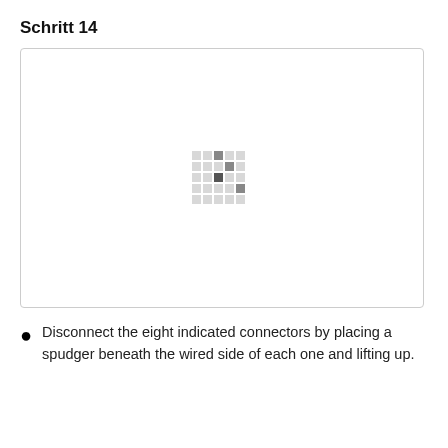Schritt 14
[Figure (photo): A nearly blank white image with a small faint pixel pattern (loading indicator or placeholder) centered in the frame, suggesting an image that did not fully load. Small gray dots arranged in a grid pattern visible at center.]
Disconnect the eight indicated connectors by placing a spudger beneath the wired side of each one and lifting up.